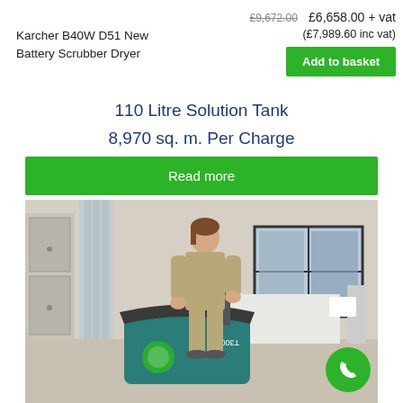Karcher B40W D51 New Battery Scrubber Dryer
£9,672.00  £6,658.00 + vat
(£7,989.60 inc vat)
Add to basket
110 Litre Solution Tank
8,970 sq. m. Per Charge
Read more
[Figure (photo): Woman in khaki uniform operating a teal floor scrubber machine (Tennant T300/Eco50) in a hospital room with a bed, curtains, and window in background.]